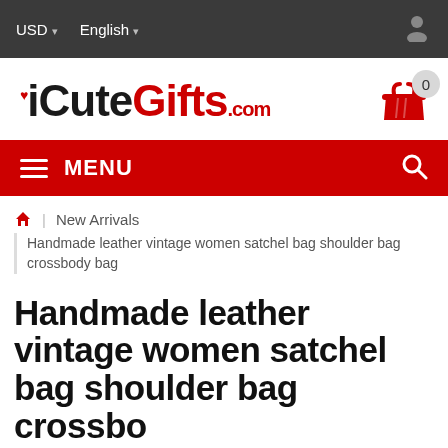USD ▾   English ▾
[Figure (logo): iCuteGifts.com logo with heart accent and red basket cart icon showing 0 items]
≡ MENU
🏠 | New Arrivals
Handmade leather vintage women satchel bag shoulder bag crossbody bag
Handmade leather vintage women satchel bag shoulder bag crossbody bag